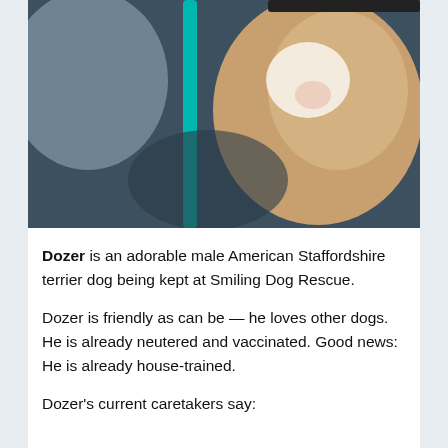[Figure (photo): Close-up photo of a tan/beige American Staffordshire terrier dog in a vehicle, wearing a teal/turquoise leash. The dog's body and side are visible against dark car seat upholstery. A white patch is visible on the dog's side.]
Dozer is an adorable male American Staffordshire terrier dog being kept at Smiling Dog Rescue.
Dozer is friendly as can be — he loves other dogs. He is already neutered and vaccinated. Good news: He is already house-trained.
Dozer's current caretakers say: